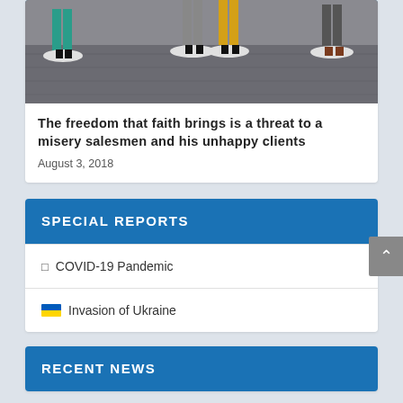[Figure (photo): Photo of figurines standing on white oval bases on a wooden floor surface, partially visible (cropped at top)]
The freedom that faith brings is a threat to a misery salesmen and his unhappy clients
August 3, 2018
SPECIAL REPORTS
COVID-19 Pandemic
Invasion of Ukraine
RECENT NEWS